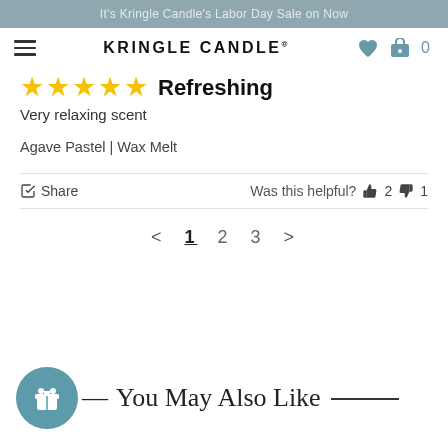It's Kringle Candle's Labor Day Sale on Now
[Figure (screenshot): Navigation bar with hamburger menu, KRINGLE CANDLE brand name, heart icon, and shopping cart showing 0 items]
Refreshing
Very relaxing scent
Agave Pastel | Wax Melt
Share   Was this helpful?  👍 2  👎 1
< 1 2 3 >
— You May Also Like —